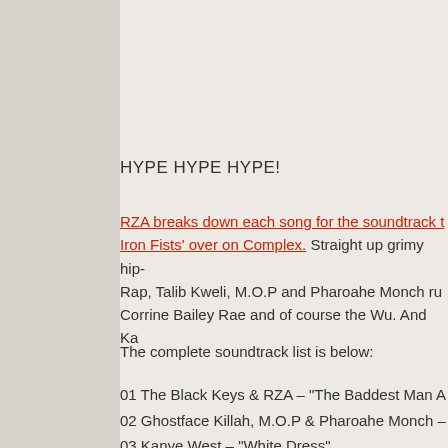HYPE HYPE HYPE!
RZA breaks down each song for the soundtrack to 'The Man with the Iron Fists' over on Complex. Straight up grimy hip-hop, Rap, Talib Kweli, M.O.P and Pharoahe Monch rubbing shoulders with Corrine Bailey Rae and of course the Wu. And Ka...
The complete soundtrack list is below:
01 The Black Keys & RZA – "The Baddest Man A..."
02 Ghostface Killah, M.O.P & Pharoahe Monch –...
03 Kanye West – "White Dress"
04 The Revolution feat. Tre Williams – "E..."